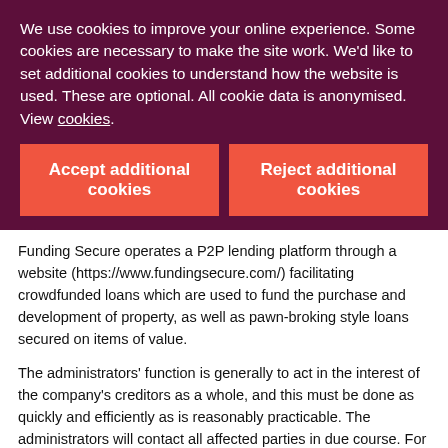We use cookies to improve your online experience. Some cookies are necessary to make the site work. We'd like to set additional cookies to understand how the website is used. These are optional. All cookie data is anonymised. View cookies.
Accept additional cookies
Reject additional cookies
Funding Secure operates a P2P lending platform through a website (https://www.fundingsecure.com/) facilitating crowdfunded loans which are used to fund the purchase and development of property, as well as pawn-broking style loans secured on items of value.
The administrators' function is generally to act in the interest of the company's creditors as a whole, and this must be done as quickly and efficiently as is reasonably practicable. The administrators will contact all affected parties in due course. For more information about the administration please use the following contact details:
visit: www.cg.recovery.com/fundingsecure
email: fundingsecure@cg-recovery.com